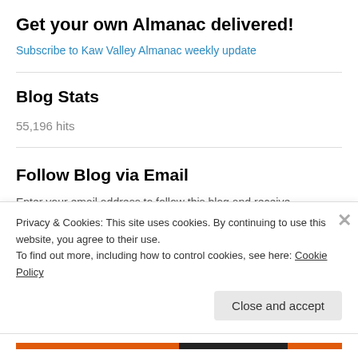Get your own Almanac delivered!
Subscribe to Kaw Valley Almanac weekly update
Blog Stats
55,196 hits
Follow Blog via Email
Enter your email address to follow this blog and receive notifications of
Privacy & Cookies: This site uses cookies. By continuing to use this website, you agree to their use.
To find out more, including how to control cookies, see here: Cookie Policy
Close and accept